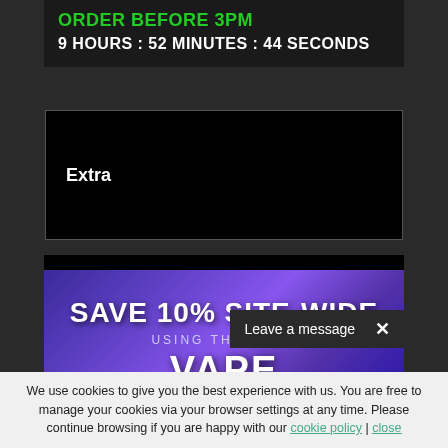ORDER BEFORE 3PM
9 HOURS : 52 MINUTES : 44 SECONDS
Extra
[Figure (illustration): Promotional banner with purple/blue gradient background reading: SAVE 10% SITE-WIDE / USING THE CODE / VAPE...]
Leave a message
We use cookies to give you the best experience with us. You are free to manage your cookies via your browser settings at any time. Please continue browsing if you are happy with our cookie policy | close